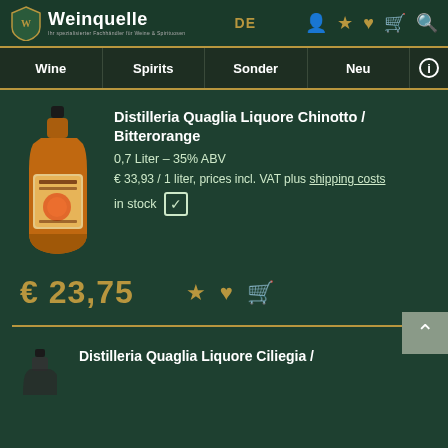Weinquelle — DE
Wine | Spirits | Sonder | Neu
Distilleria Quaglia Liquore Chinotto / Bitterorange
0,7 Liter - 35% ABV
€ 33,93 / 1 liter, prices incl. VAT plus shipping costs
in stock ☑
€ 23,75
Distilleria Quaglia Liquore Ciliegia /